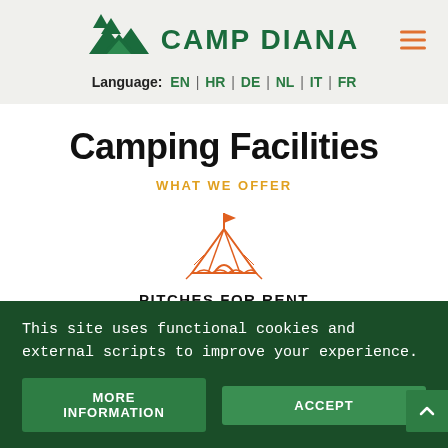Camp Diana logo and navigation header
Language: EN | HR | DE | NL | IT | FR
Camping Facilities
WHAT WE OFFER
[Figure (illustration): Orange outline illustration of a camping tent/tipi with a flag on top]
PITCHES FOR RENT
This site uses functional cookies and external scripts to improve your experience.
MORE INFORMATION    ACCEPT